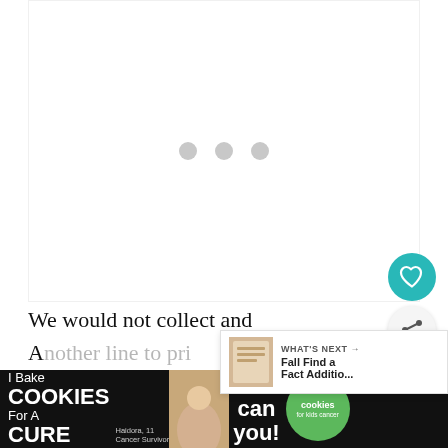[Figure (other): Loading placeholder area with three gray dots in the center, indicating content loading]
We would not collect and grade this game but use it as math fact mastery evidence if needed for a given student.
[Figure (other): WHAT'S NEXT panel showing 'Fall Find a Fact Additio...' with a thumbnail image]
[Figure (other): Advertisement banner: I Bake COOKIES For A CURE - Haidora, 11 Cancer Survivor - So can you! - cookies for kids cancer, with close button]